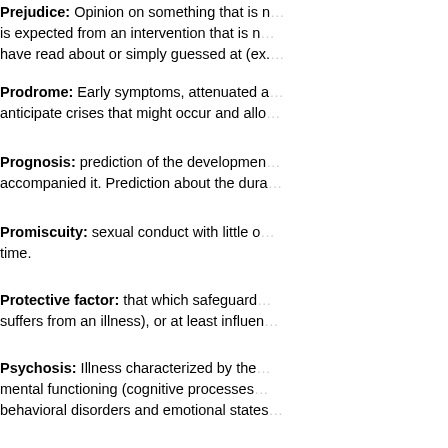Prejudice: Opinion on something that is not based on reason or actual experience. It is expected from an intervention that is not from a professional, such as things they have read about or simply guessed at (ex.…
Prodrome: Early symptoms, attenuated and yet characteristic of the illness, that anticipate crises that might occur and allow…
Prognosis: prediction of the development of the illness and the symptoms that accompanied it. Prediction about the dura…
Promiscuity: sexual conduct with little or no stable partner, changing partners over time.
Protective factor: that which safeguards (prevents a person from getting ill or suffers from an illness), or at least influenc…
Psychosis: Illness characterized by the loss or significant deterioration of the mental functioning (cognitive processes…) behavioral disorders and emotional states…
Rapport: a term of French origin that is used in the field of psychiatry and psychology. Having a good rapport, is to have conne… patient using the word).
Rebound effect: obtaining the opposite effect of the desired one (ex. Instead of a relaxant the patient becomes energized).